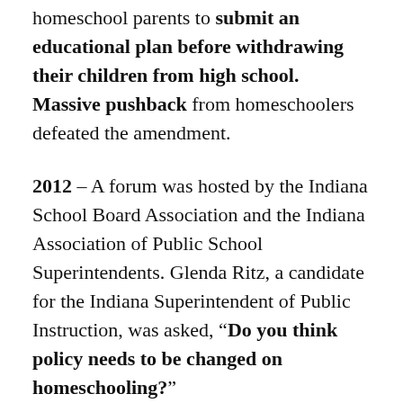homeschool parents to submit an educational plan before withdrawing their children from high school. Massive pushback from homeschoolers defeated the amendment.
2012 – A forum was hosted by the Indiana School Board Association and the Indiana Association of Public School Superintendents. Glenda Ritz, a candidate for the Indiana Superintendent of Public Instruction, was asked, "Do you think policy needs to be changed on homeschooling?"